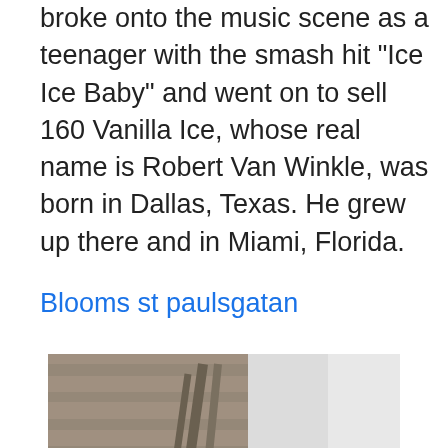broke onto the music scene as a teenager with the smash hit "Ice Ice Baby" and went on to sell 160 Vanilla Ice, whose real name is Robert Van Winkle, was born in Dallas, Texas. He grew up there and in Miami, Florida.
Blooms st paulsgatan
[Figure (photo): Black and white photograph of an old wooden wagon with large metal wheels, shot from a low angle close-up. The weathered wood planks of the wagon box are visible in the background, with fence posts in the far background.]